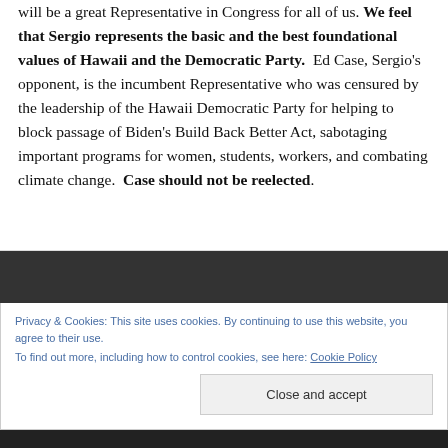will be a great Representative in Congress for all of us. We feel that Sergio represents the basic and the best foundational values of Hawaii and the Democratic Party.  Ed Case, Sergio's opponent, is the incumbent Representative who was censured by the leadership of the Hawaii Democratic Party for helping to block passage of Biden's Build Back Better Act, sabotaging important programs for women, students, workers, and combating climate change.  Case should not be reelected.
Privacy & Cookies: This site uses cookies. By continuing to use this website, you agree to their use.
To find out more, including how to control cookies, see here: Cookie Policy